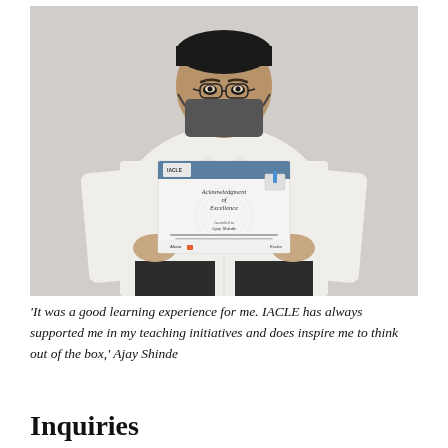[Figure (photo): A man wearing a mask and white shirt holding an IACLE Acknowledgment of Excellence certificate, standing against a light grey wall.]
'It was a good learning experience for me. IACLE has always supported me in my teaching initiatives and does inspire me to think out of the box,' Ajay Shinde
Inquiries